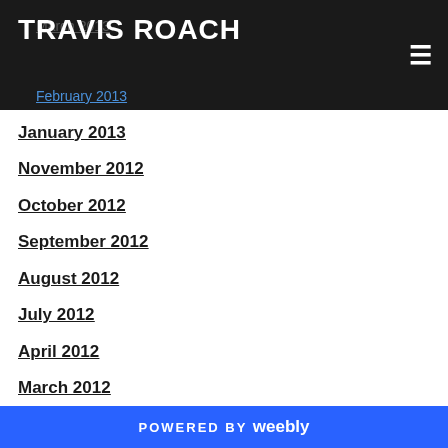TRAVIS ROACH
March 2013
February 2013
January 2013
November 2012
October 2012
September 2012
August 2012
July 2012
April 2012
March 2012
February 2012
January 2012
December 2011
November 2011
October 2011
September 2011
August 2011
POWERED BY weebly